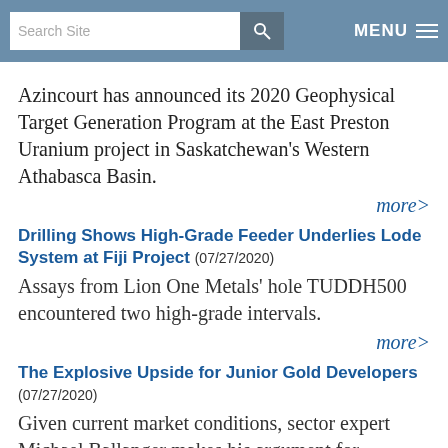Search Site | MENU
Azincourt has announced its 2020 Geophysical Target Generation Program at the East Preston Uranium project in Saskatchewan's Western Athabasca Basin.
more>
Drilling Shows High-Grade Feeder Underlies Lode System at Fiji Project (07/27/2020)
Assays from Lion One Metals' hole TUDDH500 encountered two high-grade intervals.
more>
The Explosive Upside for Junior Gold Developers (07/27/2020)
Given current market conditions, sector expert Michael Ballanger makes his argument for investment in junior gold developers such as